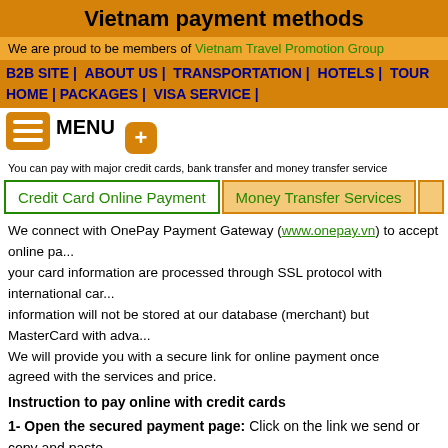Vietnam payment methods
We are proud to be members of Vietnam Travel Promotion Group
B2B SITE | ABOUT US | TRANSPORTATION | HOTELS | TOUR HOME | PACKAGES | VISA SERVICE |
MENU
You can pay with major credit cards, bank transfer and money transfer service
Credit Card Online Payment | Money Transfer Services
We connect with OnePay Payment Gateway (www.onepay.vn) to accept online pa... your card information are processed through SSL protocol with international car... information will not be stored at our database (merchant) but MasterCard with adva... We will provide you with a secure link for online payment once agreed with the services and price.
Instruction to pay online with credit cards
1- Open the secured payment page: Click on the link we send or copy and paste... gateway interface will appear as below: